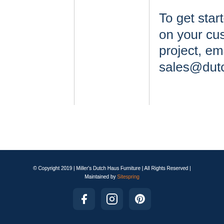To get started on your custom project, email: sales@dutch
© Copyright 2019 | Miller's Dutch Haus Furniture | All Rights Reserved | Maintained by Sitespring
[Figure (logo): Social media icons for Facebook, Instagram, and Pinterest in dark navy rounded square buttons]